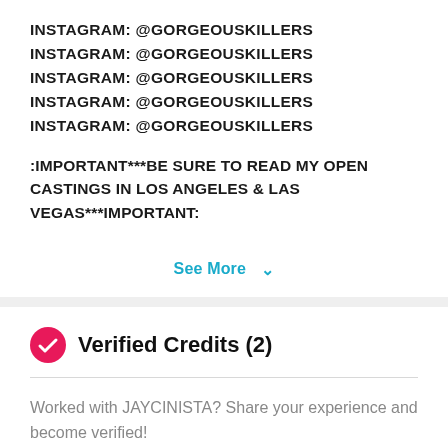INSTAGRAM: @GORGEOUSKILLERS
INSTAGRAM: @GORGEOUSKILLERS
INSTAGRAM: @GORGEOUSKILLERS
INSTAGRAM: @GORGEOUSKILLERS
INSTAGRAM: @GORGEOUSKILLERS
:IMPORTANT***BE SURE TO READ MY OPEN CASTINGS IN LOS ANGELES & LAS VEGAS***IMPORTANT:
See More ∨
Verified Credits (2)
Worked with JAYCINISTA? Share your experience and become verified!
+ Add Credits